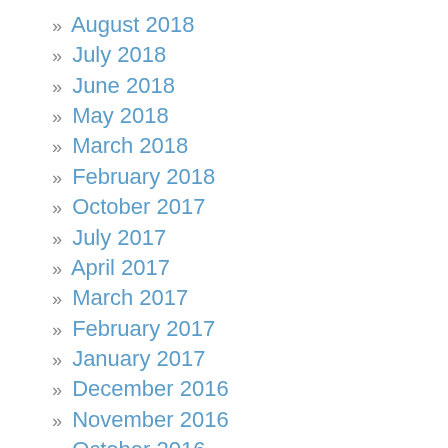» August 2018
» July 2018
» June 2018
» May 2018
» March 2018
» February 2018
» October 2017
» July 2017
» April 2017
» March 2017
» February 2017
» January 2017
» December 2016
» November 2016
» October 2016
» September 2016